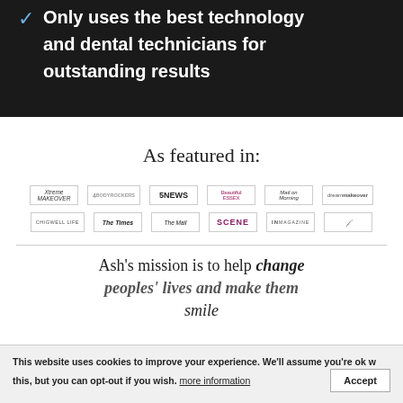Only uses the best technology and dental technicians for outstanding results
As featured in:
[Figure (logo): Row of media logos: Xtreme Makeover, 4 (Channel 4), 5NEWS, Beautiful Essex, Mail on Sunday Morning, dream makeover, Chigwell Life, The Times, The Mail, SCENE, IN Magazine, and one more logo]
Ash's mission is to help change peoples' lives and make them smile
This website uses cookies to improve your experience. We'll assume you're ok with this, but you can opt-out if you wish. more information Accept